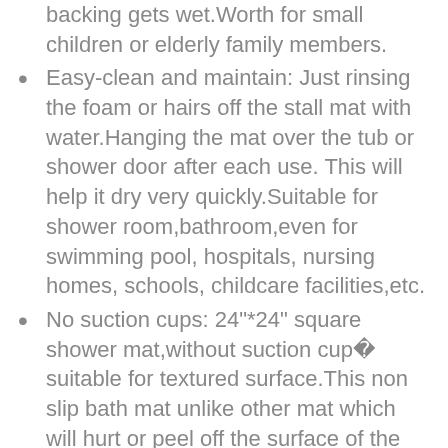backing gets wet.Worth for small children or elderly family members.
Easy-clean and maintain: Just rinsing the foam or hairs off the stall mat with water.Hanging the mat over the tub or shower door after each use. This will help it dry very quickly.Suitable for shower room,bathroom,even for swimming pool, hospitals, nursing homes, schools, childcare facilities,etc.
No suction cups: 24"*24" square shower mat,without suction cup� suitable for textured surface.This non slip bath mat unlike other mat which will hurt or peel off the surface of the floor.All season universal,best choice for your private home.